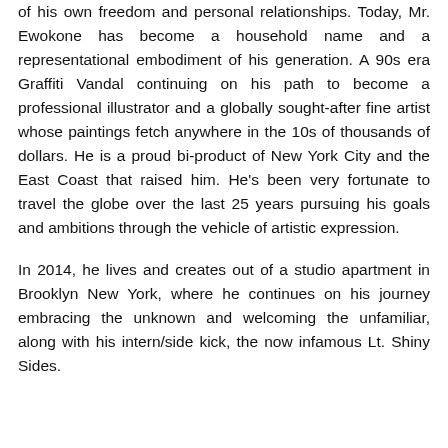of his own freedom and personal relationships. Today, Mr. Ewokone has become a household name and a representational embodiment of his generation. A 90s era Graffiti Vandal continuing on his path to become a professional illustrator and a globally sought-after fine artist whose paintings fetch anywhere in the 10s of thousands of dollars. He is a proud bi-product of New York City and the East Coast that raised him. He's been very fortunate to travel the globe over the last 25 years pursuing his goals and ambitions through the vehicle of artistic expression.
In 2014, he lives and creates out of a studio apartment in Brooklyn New York, where he continues on his journey embracing the unknown and welcoming the unfamiliar, along with his intern/side kick, the now infamous Lt. Shiny Sides.